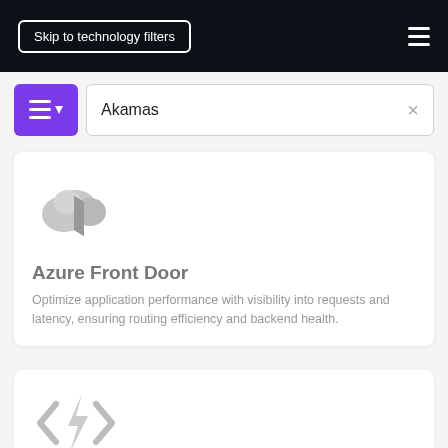Skip to technology filters
Akamas
[Figure (logo): Azure Front Door cloud icon - grey cloud with a door/arrow shape]
Azure Front Door
Optimize application performance with visibility into requests and latency, ensuring routing efficiency and backend health.
[Figure (logo): Azure Functions icon - grey lightning bolt inside angle brackets code symbol]